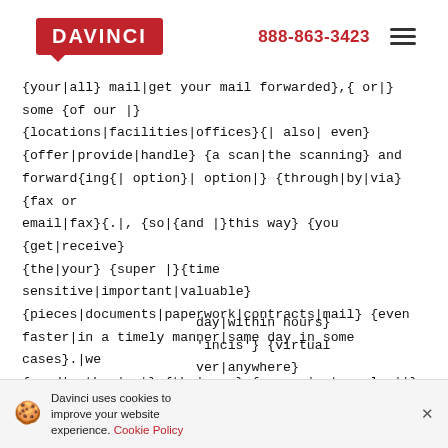[Figure (logo): Davinci logo: red rectangle with white text DAVINCI and red speech bubble pointer below]
888-863-3423
{your|all} mail|get your mail forwarded},{ or|} some {of our |} {locations|facilities|offices}{| also| even} {offer|provide|handle} {a scan|the scanning} and forward{ing{| option}| option|} {through|by|via} {fax or email|fax}{.|, {so|{and |}this way} {you {get|receive} {the|your} {super |}{time sensitive|important|valuable} {pieces|documents|paperwork|contracts|mail} {even faster|in a timely manner|same day in some cases}.|we {send|outbox|get} {the|your} {super |extremely ||}{time sensitive|important|valuable|urgent} {pieces|documents|paperwork|contracts|mail} {even
day|within hours}
'incis'} {virtual
ver|anywhere}
Davinci uses cookies to improve your website experience. Cookie Policy